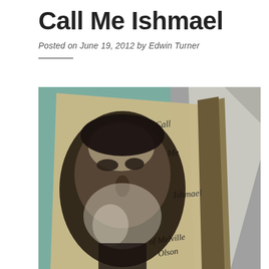Call Me Ishmael
Posted on June 19, 2012 by Edwin Turner
[Figure (photo): Photo of a book cover titled 'Call Me Ishmael' featuring a black and white illustration of a bearded man (Herman Melville). Text on the cover reads 'Call', 'Me', 'Ishmael', 'of Melville', 'Olson'. The book is placed on a surface with teal/turquoise and grey tones. The image has a vintage, high-contrast look.]